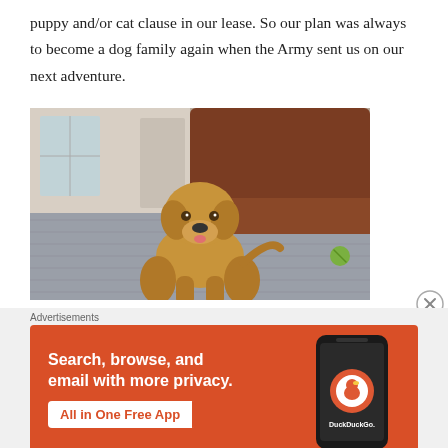puppy and/or cat clause in our lease. So our plan was always to become a dog family again when the Army sent us on our next adventure.
[Figure (photo): A golden Labrador puppy walking toward the camera on a gray shag carpet, with a brown leather sofa in the background.]
Advertisements
[Figure (illustration): DuckDuckGo advertisement banner: orange background with text 'Search, browse, and email with more privacy. All in One Free App' and an image of a phone with DuckDuckGo logo and branding.]